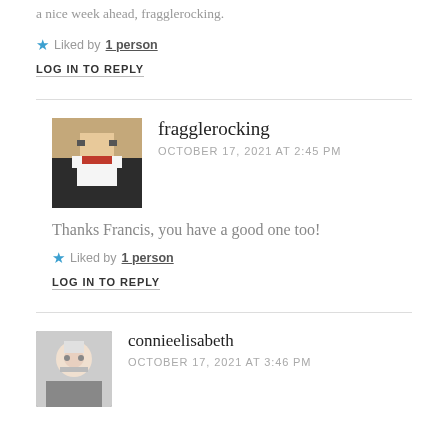a nice week ahead, fragglerocking.
Liked by 1 person
LOG IN TO REPLY
fragglerocking
OCTOBER 17, 2021 AT 2:45 PM
Thanks Francis, you have a good one too!
Liked by 1 person
LOG IN TO REPLY
connieelisabeth
OCTOBER 17, 2021 AT 3:46 PM